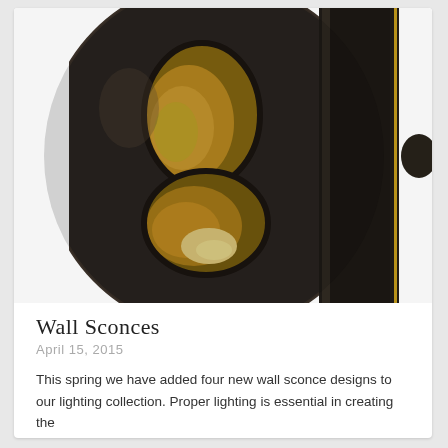[Figure (photo): Close-up photograph of a dark bronze/black wall sconce with two oval cutouts revealing a warm golden interior glow, with a vertical cylindrical mounting element on the right side against a white background.]
Wall Sconces
April 15, 2015
This spring we have added four new wall sconce designs to our lighting collection.  Proper lighting is essential in creating the